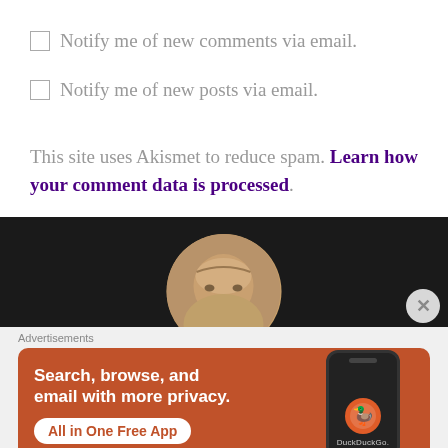☐ Notify me of new comments via email.
☐ Notify me of new posts via email.
This site uses Akismet to reduce spam. Learn how your comment data is processed.
[Figure (photo): Dark background section with a circular profile photo showing a bald man peeking up, with a close button in the lower right]
Advertisements
[Figure (screenshot): DuckDuckGo advertisement banner with orange background showing 'Search, browse, and email with more privacy. All in One Free App' with phone mockup and DuckDuckGo logo]